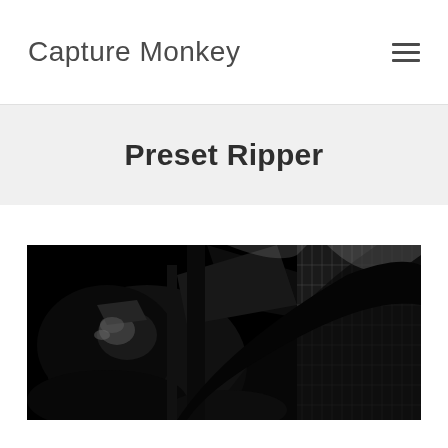Capture Monkey
Preset Ripper
[Figure (photo): Black and white high-contrast photograph showing abstract mechanical or architectural forms with dark silhouettes and light grid/mesh patterns in the background]